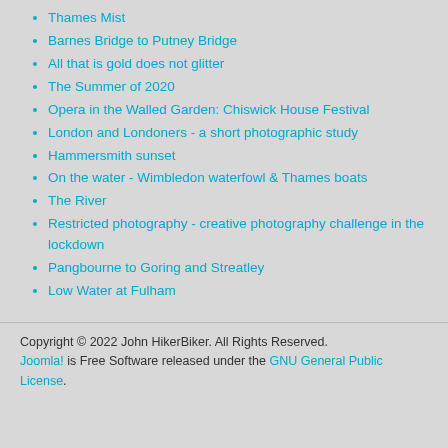Thames Mist
Barnes Bridge to Putney Bridge
All that is gold does not glitter
The Summer of 2020
Opera in the Walled Garden: Chiswick House Festival
London and Londoners - a short photographic study
Hammersmith sunset
On the water - Wimbledon waterfowl & Thames boats
The River
Restricted photography - creative photography challenge in the lockdown
Pangbourne to Goring and Streatley
Low Water at Fulham
Copyright © 2022 John HikerBiker. All Rights Reserved. Joomla! is Free Software released under the GNU General Public License.